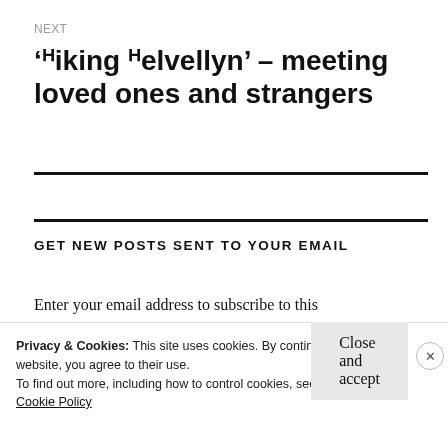NEXT
'ᴴiking ᴴelvellyn' – meeting loved ones and strangers
GET NEW POSTS SENT TO YOUR EMAIL
Enter your email address to subscribe to this
Privacy & Cookies: This site uses cookies. By continuing to use this website, you agree to their use.
To find out more, including how to control cookies, see here:
Cookie Policy
Close and accept